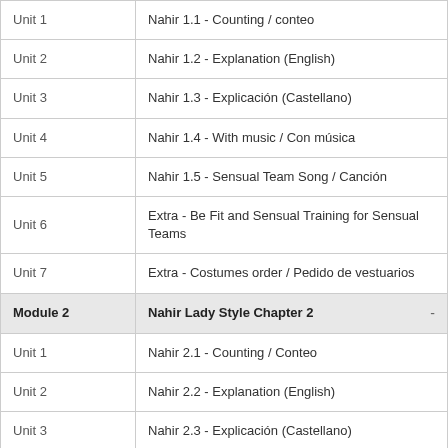| Unit/Module | Title |
| --- | --- |
| Unit 1 | Nahir 1.1 - Counting / conteo |
| Unit 2 | Nahir 1.2 - Explanation (English) |
| Unit 3 | Nahir 1.3 - Explicación (Castellano) |
| Unit 4 | Nahir 1.4 - With music / Con música |
| Unit 5 | Nahir 1.5 - Sensual Team Song / Canción |
| Unit 6 | Extra - Be Fit and Sensual Training for Sensual Teams |
| Unit 7 | Extra - Costumes order / Pedido de vestuarios |
| Module 2 | Nahir Lady Style Chapter 2 |
| Unit 1 | Nahir 2.1 - Counting / Conteo |
| Unit 2 | Nahir 2.2 - Explanation (English) |
| Unit 3 | Nahir 2.3 - Explicación (Castellano) |
| Unit 4 | Nahir 2.4 - With music / Con música |
| Module 3 | Nahir Lady Style Chapter 3 |